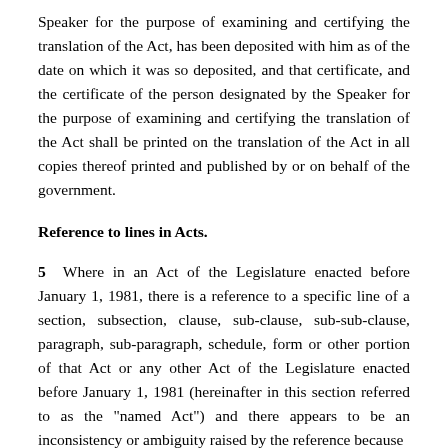Speaker for the purpose of examining and certifying the translation of the Act, has been deposited with him as of the date on which it was so deposited, and that certificate, and the certificate of the person designated by the Speaker for the purpose of examining and certifying the translation of the Act shall be printed on the translation of the Act in all copies thereof printed and published by or on behalf of the government.
Reference to lines in Acts.
5  Where in an Act of the Legislature enacted before January 1, 1981, there is a reference to a specific line of a section, subsection, clause, sub-clause, sub-sub-clause, paragraph, sub-paragraph, schedule, form or other portion of that Act or any other Act of the Legislature enacted before January 1, 1981 (hereinafter in this section referred to as the "named Act") and there appears to be an inconsistency or ambiguity raised by the reference because